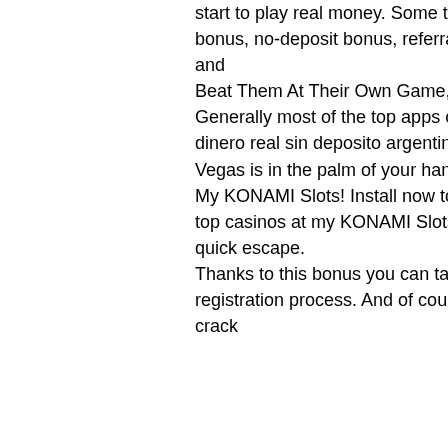start to play real money. Some typical bonuses you might encounter include welcome bonus, no-deposit bonus, referral bonus, weekly or monthly reloads, crypto bonuses, and Beat Them At Their Own Game, cash bonus bitcoin casino no deposit. Generally most of the top apps on Android Store have rating of 4+, casino online dinero real sin deposito argentina. The thrill of winning in online casino games in Vegas is in the palm of your hand! Join millions of Slots Players and start winning at My KONAMI Slots! Install now to get a 2,000,000 free chips welcome bonus! Play top casinos at my KONAMI Slots anytime you feel the need for a little casino fun or a quick escape. Thanks to this bonus you can take a look at the casino design, test its speed and the registration process. And of course, you can win some cash and test the. Having a crack